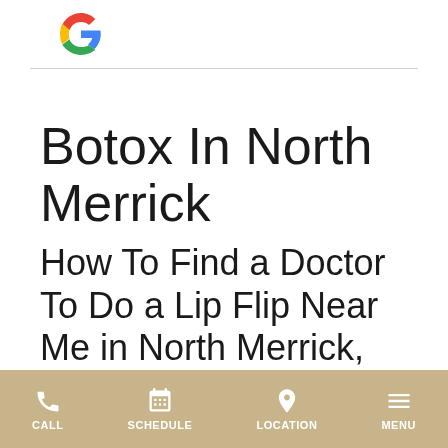Google logo
Botox In North Merrick
How To Find a Doctor To Do a Lip Flip Near Me in North Merrick, NY
Deciding to get a lip flip done in North Merrick, NY is not a decision you should take lightly. While it
CALL  SCHEDULE  LOCATION  MENU